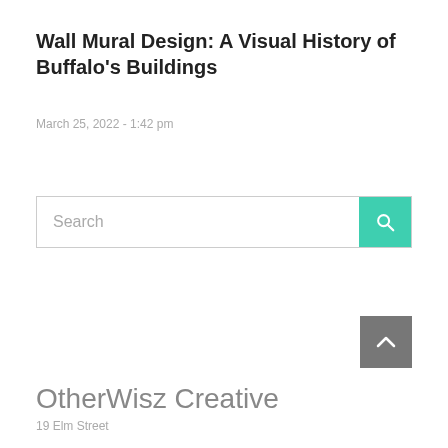Wall Mural Design: A Visual History of Buffalo's Buildings
March 25, 2022 - 1:42 pm
[Figure (other): Search bar with teal/green search button and magnifying glass icon]
[Figure (other): Grey back-to-top button with upward chevron arrow]
OtherWisz Creative
19 Elm Street